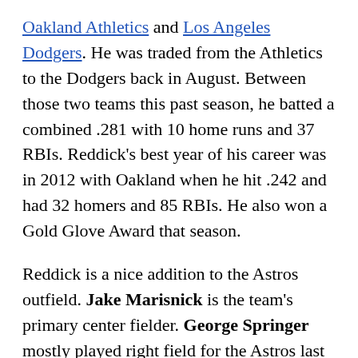Oakland Athletics and Los Angeles Dodgers. He was traded from the Athletics to the Dodgers back in August. Between those two teams this past season, he batted a combined .281 with 10 home runs and 37 RBIs. Reddick's best year of his career was in 2012 with Oakland when he hit .242 and had 32 homers and 85 RBIs. He also won a Gold Glove Award that season.
Reddick is a nice addition to the Astros outfield. Jake Marisnick is the team's primary center fielder. George Springer mostly played right field for the Astros last season. This is the position that Reddick predominately plays. What this means is that either Springer or Reddick will have to move to left field next season. Both players have already expressed their willingness to play wherever manager A.J. Hinch wants them to.
Not only is he a good defensive player, but Reddick can also handle the bat relatively well. As he moved left...